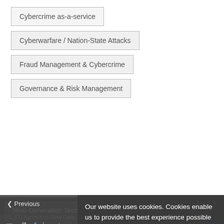Cybercrime as-a-service
Cyberwarfare / Nation-State Attacks
Fraud Management & Cybercrime
Governance & Risk Management
Next-Generation Technologies & Secure Development
Patch Management
Our website uses cookies. Cookies enable us to provide the best experience possible and help us understand how visitors use our website. By browsing bankinfosecurity.com, you agree to our use of cookies.
Previous  Next  US, EU Agree to a New Data-  Estonian Ransomware Operator